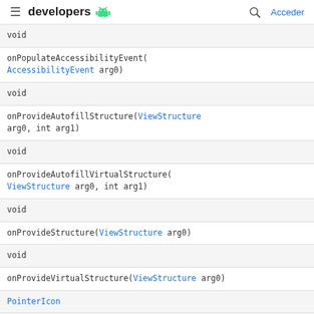developers [android logo] | [search icon] | Acceder
| void |
| onPopulateAccessibilityEvent(AccessibilityEvent arg0) |
| void |
| onProvideAutofillStructure(ViewStructure arg0, int arg1) |
| void |
| onProvideAutofillVirtualStructure(ViewStructure arg0, int arg1) |
| void |
| onProvideStructure(ViewStructure arg0) |
| void |
| onProvideVirtualStructure(ViewStructure arg0) |
| PointerIcon |
| onResolvePointerIcon(MotionEvent arg0, int |